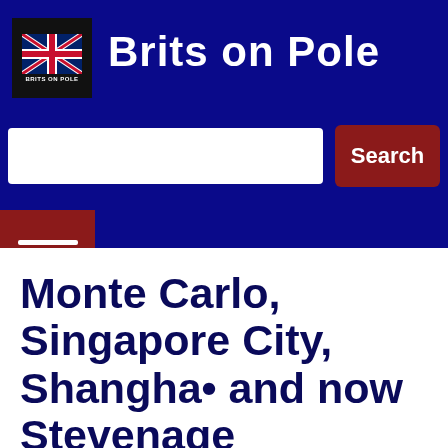[Figure (logo): Brits on Pole logo with UK flag icon and site name in white bold text on dark blue background]
[Figure (screenshot): Search input box (white rectangle) and red Search button]
[Figure (other): Dark red hamburger menu button with two white lines]
Monte Carlo, Singapore City, Shanghai and now Stevenage